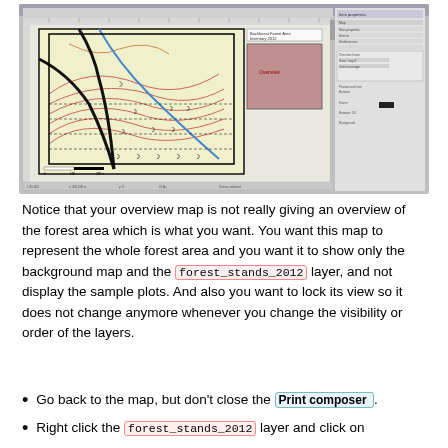[Figure (screenshot): QGIS Print Composer screenshot showing a forest area map with an overview inset, layers panel, and item properties panel on the right side.]
Notice that your overview map is not really giving an overview of the forest area which is what you want. You want this map to represent the whole forest area and you want it to show only the background map and the forest_stands_2012 layer, and not display the sample plots. And also you want to lock its view so it does not change anymore whenever you change the visibility or order of the layers.
Go back to the map, but don't close the Print composer .
Right click the forest_stands_2012 layer and click on